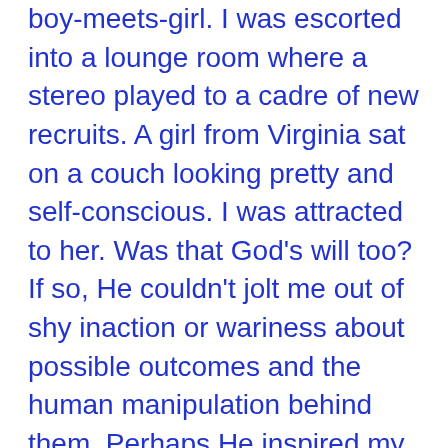boy-meets-girl. I was escorted into a lounge room where a stereo played to a cadre of new recruits. A girl from Virginia sat on a couch looking pretty and self-conscious. I was attracted to her. Was that God's will too? If so, He couldn't jolt me out of shy inaction or wariness about possible outcomes and the human manipulation behind them. Perhaps He inspired my cautiousness. In that case, who's God was right? I danced clumsily with one of the women, at her prompting – I wasn't exactly doing the Chattanooga Cha Cha. As a bonding exercise it failed to bear fruit.
I never saw the Virginian girl again, but I didn't take it personally – she probably had better accommodation options.